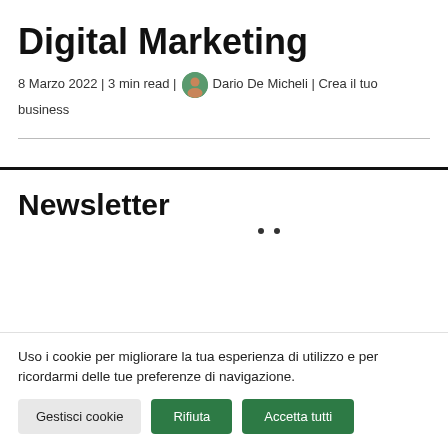Digital Marketing
8 Marzo 2022 | 3 min read | Dario De Micheli | Crea il tuo business
Newsletter
Uso i cookie per migliorare la tua esperienza di utilizzo e per ricordarmi delle tue preferenze di navigazione.